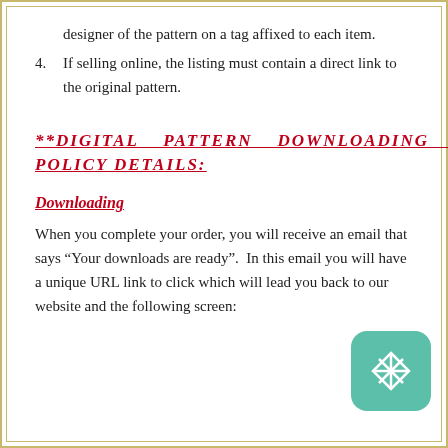designer of the pattern on a tag affixed to each item.
4. If selling online, the listing must contain a direct link to the original pattern.
**DIGITAL PATTERN DOWNLOADING & POLICY DETAILS:
Downloading
When you complete your order, you will receive an email that says "Your downloads are ready".  In this email you will have a unique URL link to click which will lead you back to our website and the following screen: